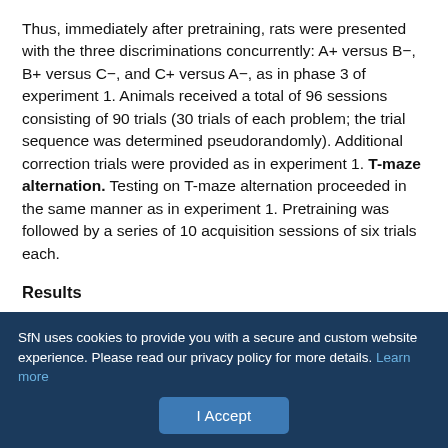Thus, immediately after pretraining, rats were presented with the three discriminations concurrently: A+ versus B−, B+ versus C−, and C+ versus A−, as in phase 3 of experiment 1. Animals received a total of 96 sessions consisting of 90 trials (30 trials of each problem; the trial sequence was determined pseudorandomly). Additional correction trials were provided as in experiment 1. T-maze alternation. Testing on T-maze alternation proceeded in the same manner as in experiment 1. Pretraining was followed by a series of 10 acquisition sessions of six trials each.
Results
Histology
[partially obscured text]
SfN uses cookies to provide you with a secure and custom website experience. Please read our privacy policy for more details. Learn more